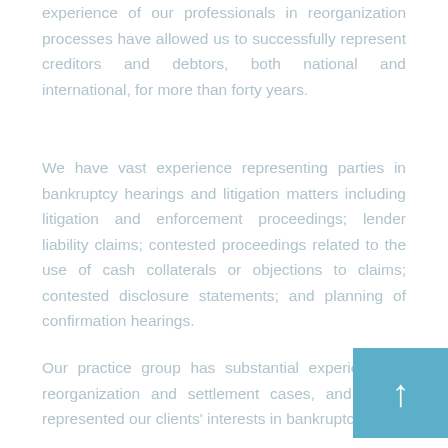experience of our professionals in reorganization processes have allowed us to successfully represent creditors and debtors, both national and international, for more than forty years.
We have vast experience representing parties in bankruptcy hearings and litigation matters including litigation and enforcement proceedings; lender liability claims; contested proceedings related to the use of cash collaterals or objections to claims; contested disclosure statements; and planning of confirmation hearings.
Our practice group has substantial experience in reorganization and settlement cases, and it has represented our clients' interests in bankruptcy